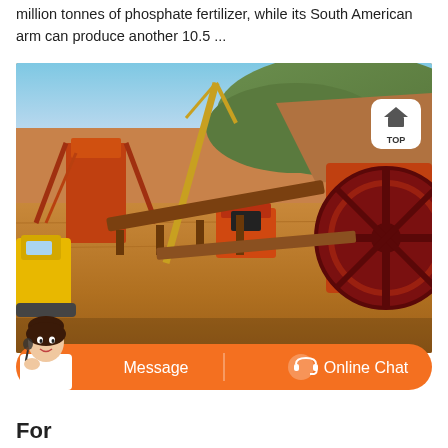million tonnes of phosphate fertilizer, while its South American arm can produce another 10.5 ...
[Figure (photo): Industrial mining or quarrying site with large orange crushing/processing machinery, a crane, conveyor belts, a yellow vehicle, and green hillside in background. Orange and rust-colored heavy equipment dominates the scene on sandy/clay ground.]
[Figure (screenshot): Orange chat bar overlay at bottom of photo with customer service avatar on the left, 'Message' button on the left half and 'Online Chat' button with headset icon on the right half.]
For